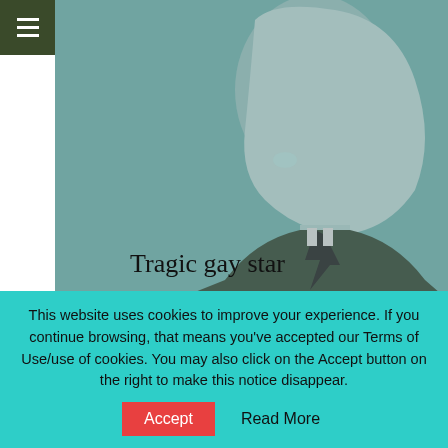[Figure (photo): Black and white / teal-toned portrait photograph of a man in profile view, looking left, wearing a suit and tie. Text overlay reads 'Tragic gay star'.]
'The Clinging Vine' cast, live musical accompaniment
Besides Leatrice Joy and Tom Moore, The Clinging Vine features Robert Edeson, Snitz
This website uses cookies to improve your experience. If you continue browsing, that means you've accepted our Terms of Use/use of cookies. You may also click on the Accept button on the right to make this notice disappear.